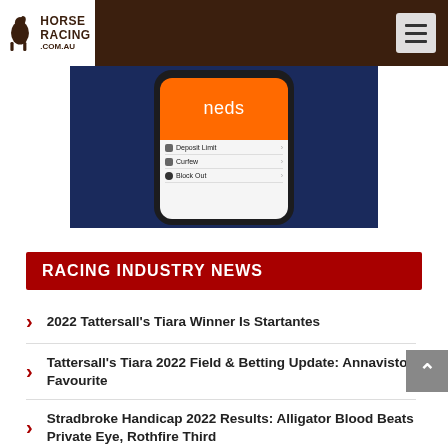Horse Racing .com.au — navigation header with hamburger menu
[Figure (screenshot): Screenshot of Neds betting app on a smartphone showing orange header with 'neds' logo and menu items: Deposit Limit, Curfew, Block Out on a dark navy blue background]
RACING INDUSTRY NEWS
2022 Tattersall's Tiara Winner Is Startantes
Tattersall's Tiara 2022 Field & Betting Update: Annavisto Favourite
Stradbroke Handicap 2022 Results: Alligator Blood Beats Private Eye, Rothfire Third